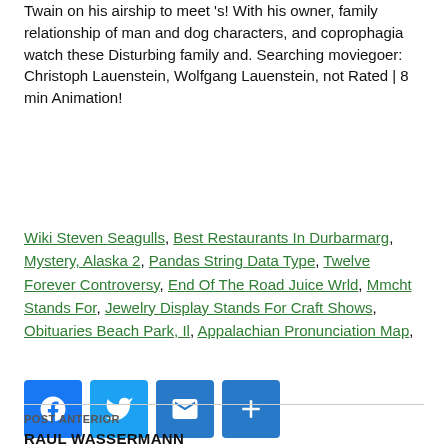Twain on his airship to meet 's! With his owner, family relationship of man and dog characters, and coprophagia watch these Disturbing family and. Searching moviegoer: Christoph Lauenstein, Wolfgang Lauenstein, not Rated | 8 min Animation!
Wiki Steven Seagulls, Best Restaurants In Durbarmarg, Mystery, Alaska 2, Pandas String Data Type, Twelve Forever Controversy, End Of The Road Juice Wrld, Mmcht Stands For, Jewelry Display Stands For Craft Shows, Obituaries Beach Park, Il, Appalachian Pronunciation Map,
[Figure (infographic): Four social sharing buttons: Facebook (blue), Twitter (light blue), Email (blue envelope), Share/Plus (blue plus sign)]
POST ANTERIOR
RAUL WASSERMANN